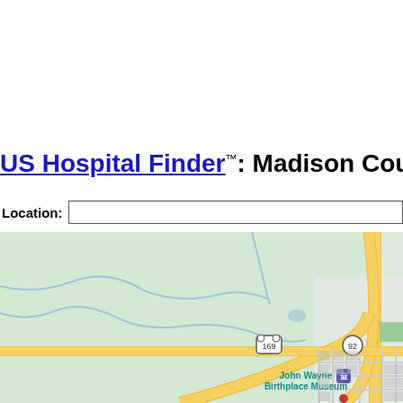US Hospital Finder™: Madison County Mem
Location:
[Figure (map): Google Maps view showing a rural area with roads including US-169 and highway 92, with John Wayne Birthplace Museum marker visible near a small town grid.]